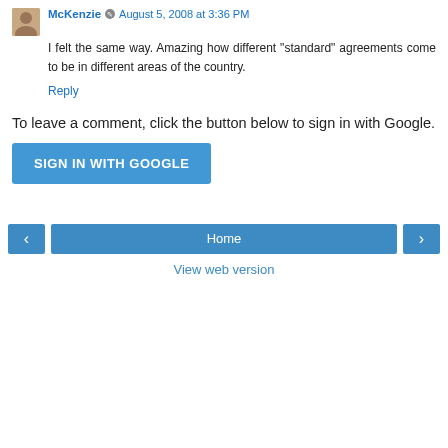McKenzie · August 5, 2008 at 3:36 PM
I felt the same way. Amazing how different "standard" agreements come to be in different areas of the country.
Reply
To leave a comment, click the button below to sign in with Google.
[Figure (other): SIGN IN WITH GOOGLE button - blue rectangle with white uppercase text]
[Figure (other): Navigation bar with left arrow, Home button, and right arrow, plus View web version link below]